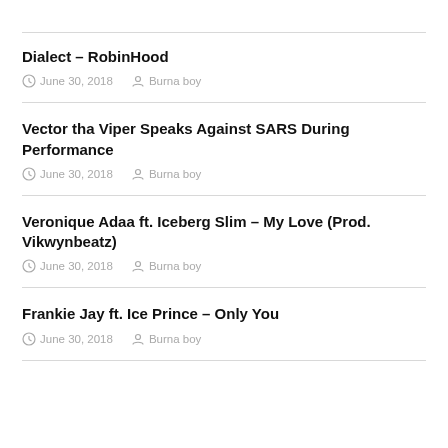Dialect – RobinHood
June 30, 2018  Burna boy
Vector tha Viper Speaks Against SARS During Performance
June 30, 2018  Burna boy
Veronique Adaa ft. Iceberg Slim – My Love (Prod. Vikwynbeatz)
June 30, 2018  Burna boy
Frankie Jay ft. Ice Prince – Only You
June 30, 2018  Burna boy